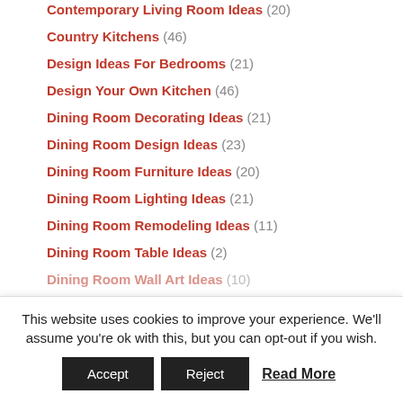Contemporary Living Room Ideas (20)
Country Kitchens (46)
Design Ideas For Bedrooms (21)
Design Your Own Kitchen (46)
Dining Room Decorating Ideas (21)
Dining Room Design Ideas (23)
Dining Room Furniture Ideas (20)
Dining Room Lighting Ideas (21)
Dining Room Remodeling Ideas (11)
Dining Room Table Ideas (2)
Dining Room Wall Art Ideas (10)
This website uses cookies to improve your experience. We'll assume you're ok with this, but you can opt-out if you wish. Accept Reject Read More